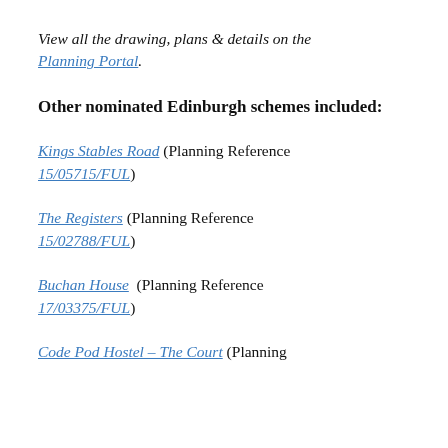View all the drawing, plans & details on the Planning Portal.
Other nominated Edinburgh schemes included:
Kings Stables Road (Planning Reference 15/05715/FUL)
The Registers (Planning Reference 15/02788/FUL)
Buchan House  (Planning Reference 17/03375/FUL)
Code Pod Hostel – The Court (Planning